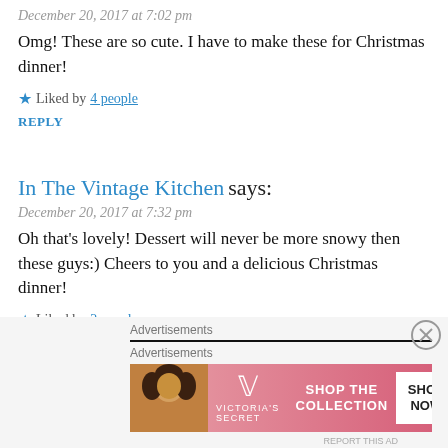December 20, 2017 at 7:02 pm
Omg! These are so cute. I have to make these for Christmas dinner!
★ Liked by 4 people
REPLY
In The Vintage Kitchen says:
December 20, 2017 at 7:32 pm
Oh that's lovely! Dessert will never be more snowy then these guys:) Cheers to you and a delicious Christmas dinner!
★ Liked by 2 people
REPLY
[Figure (other): Victoria's Secret advertisement banner with model photo, VS logo, 'SHOP THE COLLECTION' text and 'SHOP NOW' button]